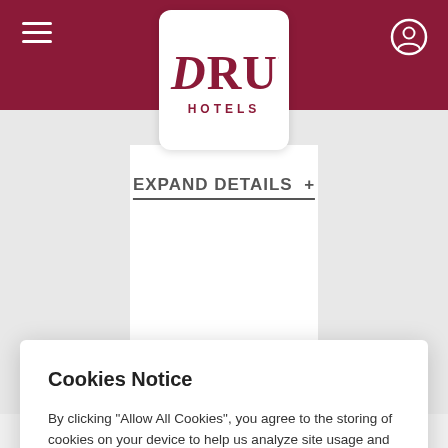[Figure (logo): Drury Hotels logo in dark red/maroon with a stylized D, on a white rounded rectangle box, set against a maroon navigation bar]
EXPAND DETAILS +
Cookies Notice
By clicking "Allow All Cookies", you agree to the storing of cookies on your device to help us analyze site usage and our marketing efforts.
Cookies Policy
Allow All Cookies
Cookie Preferences
for auto club, senior, veteran,